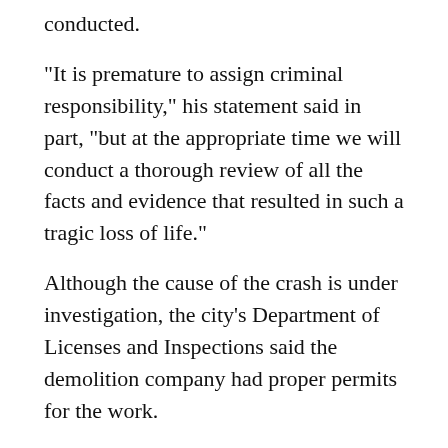conducted.
"It is premature to assign criminal responsibility," his statement said in part, "but at the appropriate time we will conduct a thorough review of all the facts and evidence that resulted in such a tragic loss of life."
Although the cause of the crash is under investigation, the city's Department of Licenses and Inspections said the demolition company had proper permits for the work.
Street Closures ...
Thursday 21st and 23rd Streets, Market to Arch Streets and 22nd Street between Chestnut and Arch remain closed.